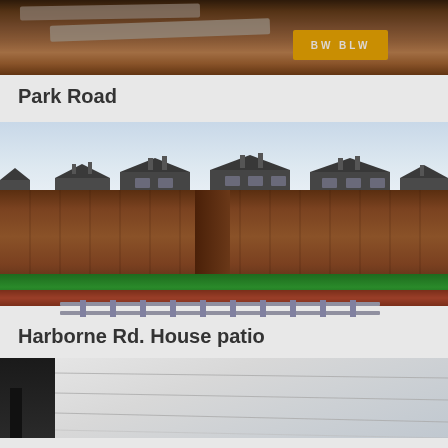[Figure (photo): Construction site photo showing excavated ground with concrete slabs and a yellow BW BLW shipping container in the background, surrounded by autumn leaves and dirt.]
Park Road
[Figure (photo): Garden/patio area showing a green lawn bordered by a tall brown wooden fence, with a row of houses with dark roofs visible behind the fence. A ladder rests against the lower brick retaining wall.]
Harborne Rd. House patio
[Figure (photo): Partial view of a roof or canopy structure, showing a dark vertical element on the left and a light-colored flat or sloped surface extending to the right.]